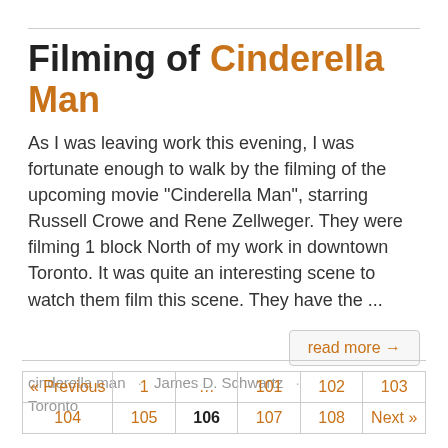Filming of Cinderella Man
As I was leaving work this evening, I was fortunate enough to walk by the filming of the upcoming movie “Cinderella Man”, starring Russell Crowe and Rene Zellweger. They were filming 1 block North of my work in downtown Toronto. It was quite an interesting scene to watch them film this scene. They have the ...
read more →
cinderella man · James D. Schwartz · Toronto
« Previous  1  …  101  102  103  104  105  106  107  108  Next »